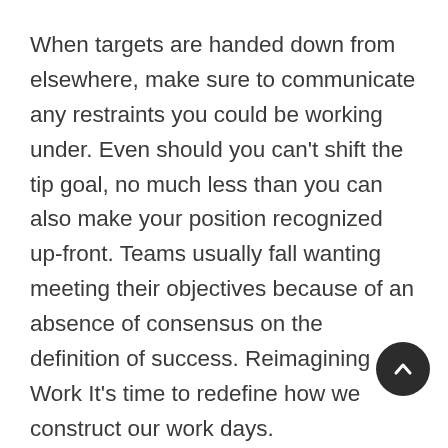When targets are handed down from elsewhere, make sure to communicate any restraints you could be working under. Even should you can't shift the tip goal, no much less than you can also make your position recognized up-front. Teams usually fall wanting meeting their objectives because of an absence of consensus on the definition of success. Reimagining Work It's time to redefine how we construct our work days.
While effective communication, correct skill management, and adequate coaching are all essential, at the end of the day, volunteers wa to really feel that they're working in direction of a